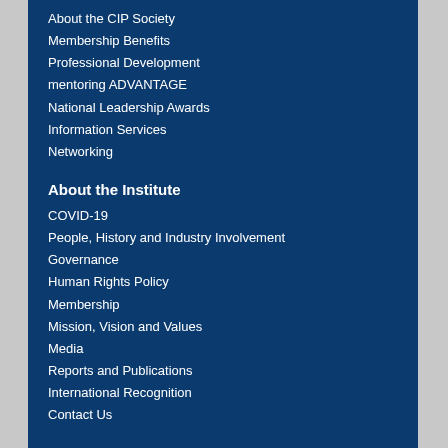About the CIP Society
Membership Benefits
Professional Development
mentoring ADVANTAGE
National Leadership Awards
Information Services
Networking
About the Institute
COVID-19
People, History and Industry Involvement
Governance
Human Rights Policy
Membership
Mission, Vision and Values
Media
Reports and Publications
International Recognition
Contact Us
Resources
Ask the Institute
Careers